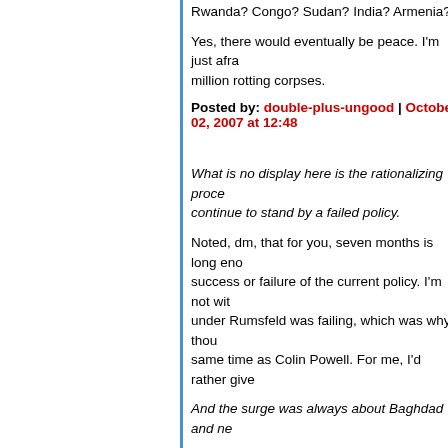Rwanda? Congo? Sudan? India? Armenia?
Yes, there would eventually be peace. I'm just afraid it would be about a million rotting corpses.
Posted by: double-plus-ungood | October 02, 2007 at 12:48
What is no display here is the rationalizing process... continue to stand by a failed policy.
Noted, dm, that for you, seven months is long enough to judge the success or failure of the current policy. I'm not with... under Rumsfeld was failing, which was why I thou... same time as Colin Powell. For me, I'd rather give...
And the surge was always about Baghdad and ne...
john, the increase in manpower was indeed abou... reasons we increased manpower there was so th... personnel out of other areas. What you and alphi... also changed our strategy countrywide starting la... misnomer to just call this thing a "surge", because...
As for the tribal sheiks, we needed them to join th... needed us to help them rid al Qaeda. It was Sep-